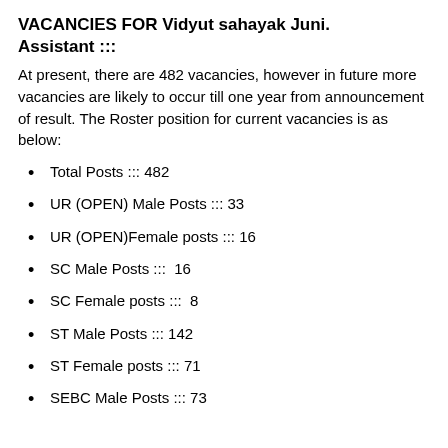VACANCIES FOR Vidyut sahayak Juni. Assistant :::
At present, there are 482 vacancies, however in future more vacancies are likely to occur till one year from announcement of result. The Roster position for current vacancies is as below:
Total Posts ::: 482
UR (OPEN) Male Posts ::: 33
UR (OPEN)Female posts ::: 16
SC Male Posts :::  16
SC Female posts :::  8
ST Male Posts ::: 142
ST Female posts ::: 71
SEBC Male Posts ::: 73